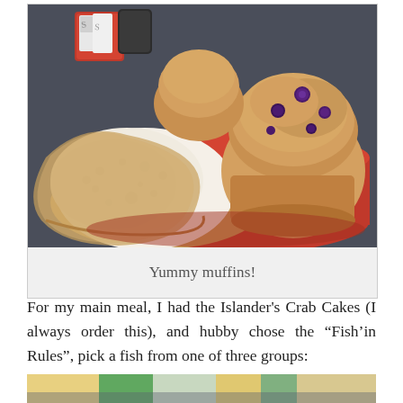[Figure (photo): Photo of muffins on a red plate/tray. One muffin is split open showing white interior, another whole muffin with blueberries visible, and a third in background. Red container with sugar packets in upper left.]
Yummy muffins!
For my main meal, I had the Islander's Crab Cakes (I always order this), and hubby chose the “Fish’in Rules”, pick a fish from one of three groups:
[Figure (photo): Partial view of another photo at the bottom of the page, appears to show colorful items/menus.]